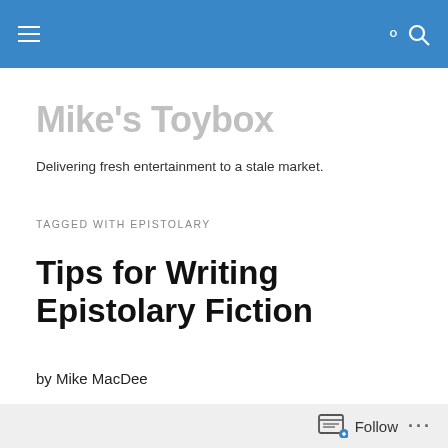Mike's Toybox — site navigation header
Mike's Toybox
Delivering fresh entertainment to a stale market.
TAGGED WITH EPISTOLARY
Tips for Writing Epistolary Fiction
by Mike MacDee
An “epistolary” story is told in the form of a document or
Follow ...